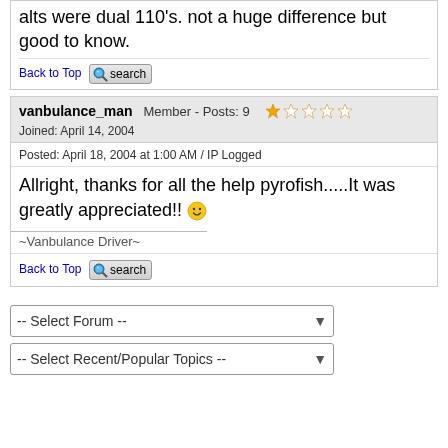alts were dual 110's. not a huge difference but good to know.
Back to Top [search]
vanbulance_man  Member - Posts: 9  ★☆☆☆☆
Joined: April 14, 2004
Posted: April 18, 2004 at 1:00 AM / IP Logged
Allright, thanks for all the help pyrofish.....It was greatly appreciated!! 🙂
~Vanbulance Driver~
Back to Top [search]
-- Select Forum --
-- Select Recent/Popular Topics --